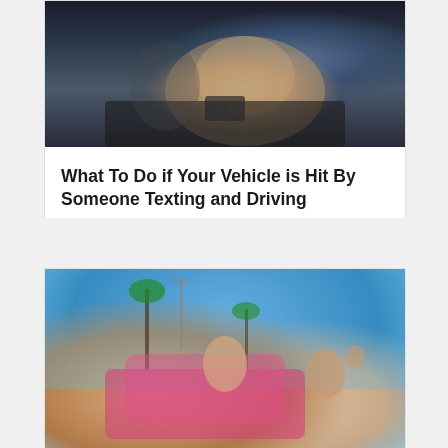[Figure (photo): Person in car interior, dark scene showing driver area with center console]
What To Do if Your Vehicle is Hit By Someone Texting and Driving
Mar 27, 2019 | Car Accident Lawsuits
[Figure (photo): Two people smiling in a pink convertible car on a sunny day with palm trees in background, blue sky]